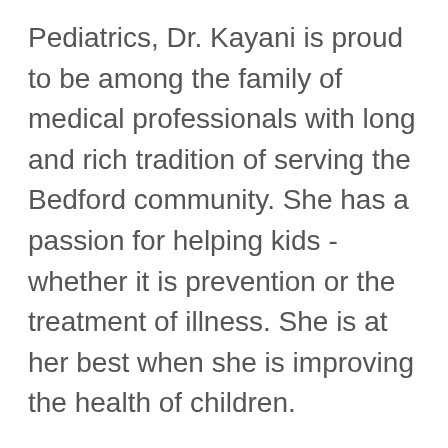Pediatrics, Dr. Kayani is proud to be among the family of medical professionals with long and rich tradition of serving the Bedford community. She has a passion for helping kids - whether it is prevention or the treatment of illness. She is at her best when she is improving the health of children.
"We are blessed to have them, but we are blessed even more if we take care of them and see to their needs," she said. "It's great privilege to help kids, and keep them healthy as they grow up to be our future." Dr. Kayani loves living in and exploring all there is to do in the